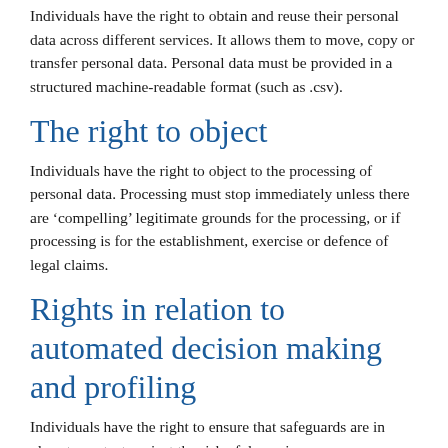Individuals have the right to obtain and reuse their personal data across different services. It allows them to move, copy or transfer personal data. Personal data must be provided in a structured machine-readable format (such as .csv).
The right to object
Individuals have the right to object to the processing of personal data. Processing must stop immediately unless there are ‘compelling’ legitimate grounds for the processing, or if processing is for the establishment, exercise or defence of legal claims.
Rights in relation to automated decision making and profiling
Individuals have the right to ensure that safeguards are in place to protect against the risk of damaging